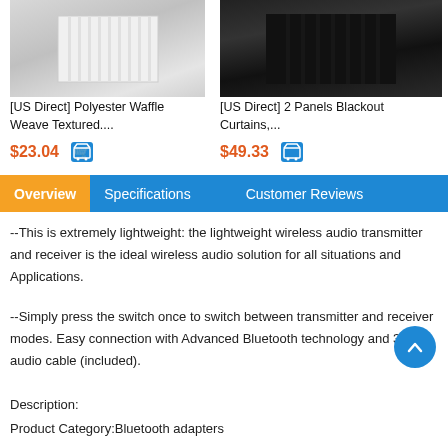[Figure (photo): Product image of white polyester waffle weave textured curtain]
[Figure (photo): Product image of dark blackout curtains panel]
[US Direct] Polyester Waffle Weave Textured....
[US Direct] 2 Panels Blackout Curtains,...
$23.04
$49.33
Overview   Specifications   Customer Reviews
--This is extremely lightweight: the lightweight wireless audio transmitter and receiver is the ideal wireless audio solution for all situations and Applications.
--Simply press the switch once to switch between transmitter and receiver modes. Easy connection with Advanced Bluetooth technology and 3.5mm audio cable (included).
Description:
Product Category:Bluetooth adapters